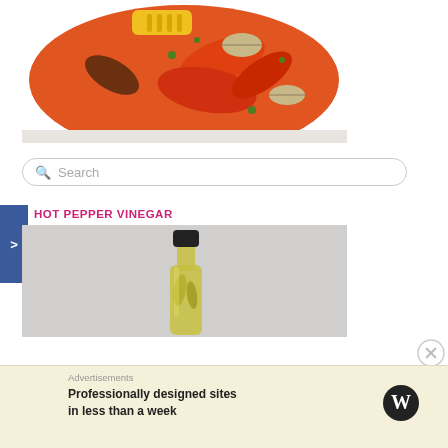[Figure (photo): Top-down photo of a seafood boil in an orange/red bowl with crab claws, corn, clams, and herbs on a light background]
[Figure (other): Search bar with magnifying glass icon and placeholder text 'Search']
HOT PEPPER VINEGAR
[Figure (photo): Photo of a bottle of hot pepper vinegar with a black cap, containing yellow/green peppers, on a grey background]
Advertisements
Professionally designed sites in less than a week